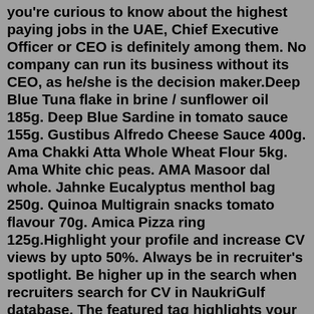you're curious to know about the highest paying jobs in the UAE, Chief Executive Officer or CEO is definitely among them. No company can run its business without its CEO, as he/she is the decision maker.Deep Blue Tuna flake in brine / sunflower oil 185g. Deep Blue Sardine in tomato sauce 155g. Gustibus Alfredo Cheese Sauce 400g. Ama Chakki Atta Whole Wheat Flour 5kg. Ama White chic peas. AMA Masoor dal whole. Jahnke Eucalyptus menthol bag 250g. Quinoa Multigrain snacks tomato flavour 70g. Amica Pizza ring 125g.Highlight your profile and increase CV views by upto 50%. Always be in recruiter's spotlight. Be higher up in the search when recruiters search for CV in NaukriGulf database. The featured tag highlights your profile and tells recruiters that you are actively looking for a job.But the most widely announced vacancies are seen in the newspaper for Accountant, Driver, Freshers, Sales, Office Boy, Cashier, Cleaning, Labor, HR, Security Guard, Engineering, IT, Restaurant, Hotel and for many other sectors and industries. ... Nakheel Group